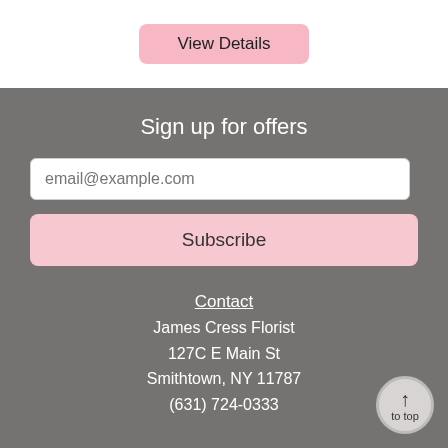View Details
Sign up for offers
email@example.com
Subscribe
Contact
James Cress Florist
127C E Main St
Smithtown, NY 11787
(631) 724-0333

James Cress Florist
36 Nesconset Hwy
Port Jefferson Station, NY 11776
(631) 473-7400
↑ to top